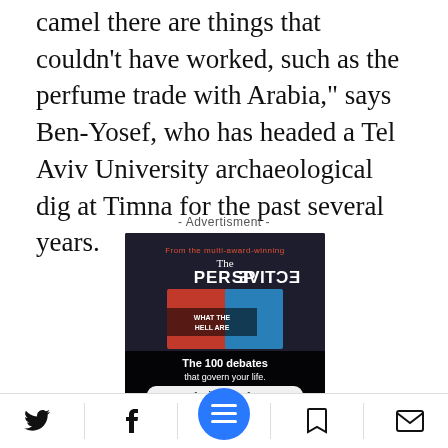camel there are things that couldn't have worked, such as the perfume trade with Arabia," says Ben-Yosef, who has headed a Tel Aviv University archaeological dig at Timna for the past several years.
- Advertisment -
[Figure (photo): Advertisement for 'The Perspective' publication featuring a book titled 'What the Hell Are...' with text 'From the multi-award-winning', 'The PERSPECTIVE', 'The 100 debates that govern your life.' and 'Available on Amazon' button.]
Twitter | Facebook | Menu | Bookmark | Email